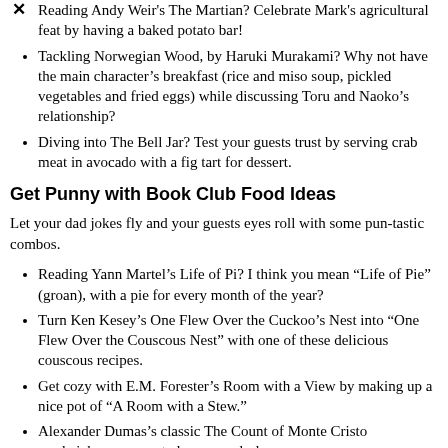Reading Andy Weir's The Martian? Celebrate Mark's agricultural feat by having a baked potato bar!
Tackling Norwegian Wood, by Haruki Murakami? Why not have the main character's breakfast (rice and miso soup, pickled vegetables and fried eggs) while discussing Toru and Naoko's relationship?
Diving into The Bell Jar? Test your guests trust by serving crab meat in avocado with a fig tart for dessert.
Get Punny with Book Club Food Ideas
Let your dad jokes fly and your guests eyes roll with some pun-tastic combos.
Reading Yann Martel's Life of Pi? I think you mean “Life of Pie” (groan), with a pie for every month of the year?
Turn Ken Kesey’s One Flew Over the Cuckoo’s Nest into “One Flew Over the Couscous Nest” with one of these delicious couscous recipes.
Get cozy with E.M. Forester’s Room with a View by making up a nice pot of “A Room with a Stew.”
Alexander Dumas’s classic The Count of Monte Cristo sandwiches are sure to be a crowd-pleaser.
Chimamanda Ngozi Adichie Purple Hibiscus (Cake) is beautiful both in book and food form.